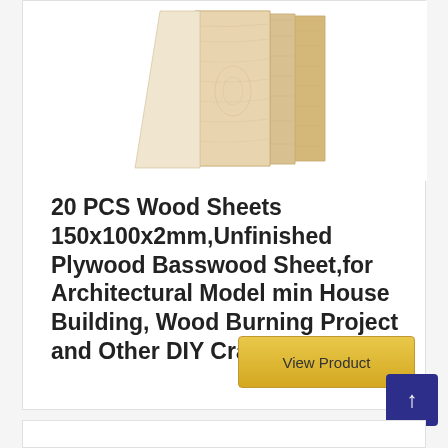[Figure (photo): Stack of light-colored basswood/plywood sheets fanned out, viewed from above on white background]
20 PCS Wood Sheets 150x100x2mm,Unfinished Plywood Basswood Sheet,for Architectural Model min House Building, Wood Burning Project and Other DIY Crafts
View Product